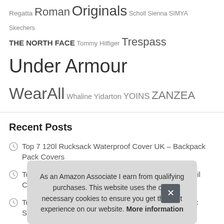Regatta Roman Originals Scholl Sienna SIMYA Skechers THE NORTH FACE Tommy Hilfiger Trespass Under Armour WearAll Whaline Yidarton YOINS ZANZEA
Recent Posts
Top 7 120l Rucksack Waterproof Cover UK – Backpack Pack Covers
Top 10 Organised Pencil Case for School UK – Pencil Cases
Top 10 Balega Socks Women UK – Women's Athletic Socks
T... Wor...
T... Wor...
As an Amazon Associate I earn from qualifying purchases. This website uses the only necessary cookies to ensure you get the best experience on our website. More information